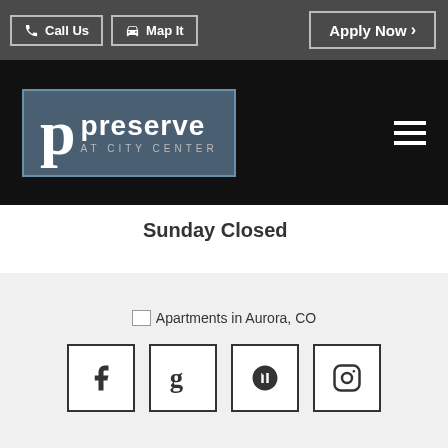Call Us  Map It  Apply Now >
[Figure (logo): Preserve at City Center logo with stylized 'p' on blue-gray background]
Sunday Closed
[Figure (photo): Apartments in Aurora, CO (broken image placeholder)]
[Figure (other): Social media icons: Facebook, Google+, Yelp, Instagram]